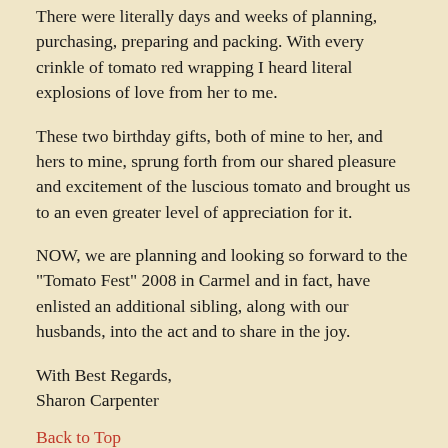There were literally days and weeks of planning, purchasing, preparing and packing. With every crinkle of tomato red wrapping I heard literal explosions of love from her to me.
These two birthday gifts, both of mine to her, and hers to mine, sprung forth from our shared pleasure and excitement of the luscious tomato and brought us to an even greater level of appreciation for it.
NOW, we are planning and looking so forward to the "Tomato Fest" 2008 in Carmel and in fact, have enlisted an additional sibling, along with our husbands, into the act and to share in the joy.
With Best Regards,
Sharon Carpenter
Back to Top
Winner: 2008
Submitted by: Monique Black, Modesto, CA